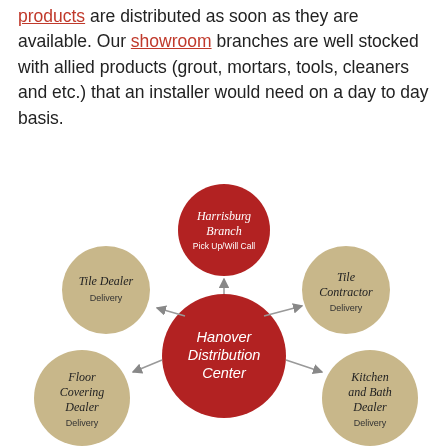products are distributed as soon as they are available. Our showroom branches are well stocked with allied products (grout, mortars, tools, cleaners and etc.) that an installer would need on a day to day basis.
[Figure (flowchart): Organizational diagram showing Hanover Distribution Center (large red circle in center) connected by arrows to: Harrisburg Branch Pick Up/Will Call (red circle, top), Tile Dealer Delivery (tan circle, upper left), Tile Contractor Delivery (tan circle, upper right), Floor Covering Dealer Delivery (tan circle, lower left), Kitchen and Bath Dealer Delivery (tan circle, lower right).]